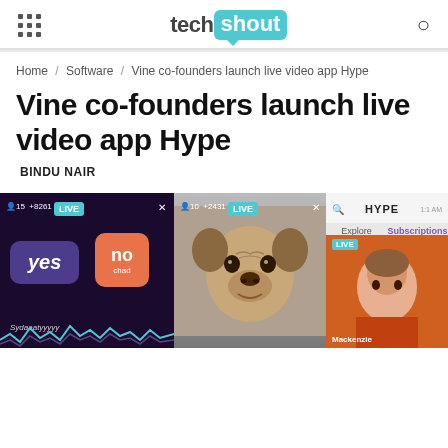tech shout
Home / Software / Vine co-founders launch live video app Hype
Vine co-founders launch live video app Hype
BINDU NAIR
[Figure (screenshot): Three screenshots of the Hype live video app showing: (1) a poll stream with 'yes' and 'no' buttons on dark background, (2) a pug dog in a live stream, (3) the Hype app interface with Explore and Subscriptions tabs and a live stream thumbnail of a woman named Mackenzie]